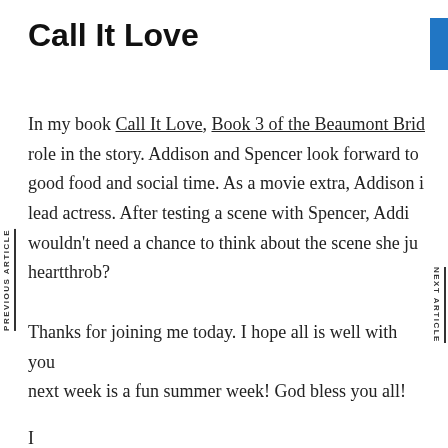Call It Love
In my book Call It Love, Book 3 of the Beaumont Brid… role in the story. Addison and Spencer look forward to good food and social time. As a movie extra, Addison i… lead actress. After testing a scene with Spencer, Addi… wouldn't need a chance to think about the scene she ju… heartthrob?
Thanks for joining me today. I hope all is well with you… next week is a fun summer week! God bless you all!